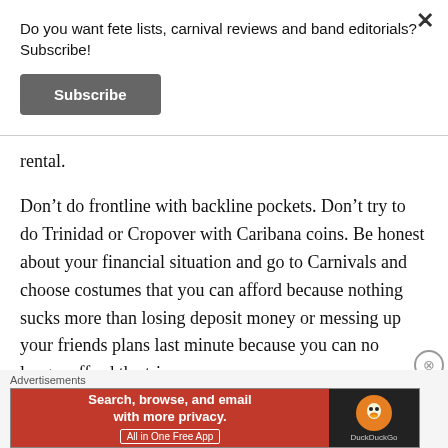Do you want fete lists, carnival reviews and band editorials? Subscribe!
Subscribe
rental.
Don't do frontline with backline pockets. Don't try to do Trinidad or Cropover with Caribana coins. Be honest about your financial situation and go to Carnivals and choose costumes that you can afford because nothing sucks more than losing deposit money or messing up your friends plans last minute because you can no longer afford the trip.
Advertisements
[Figure (screenshot): DuckDuckGo advertisement banner: Search, browse, and email with more privacy. All in One Free App — DuckDuckGo]